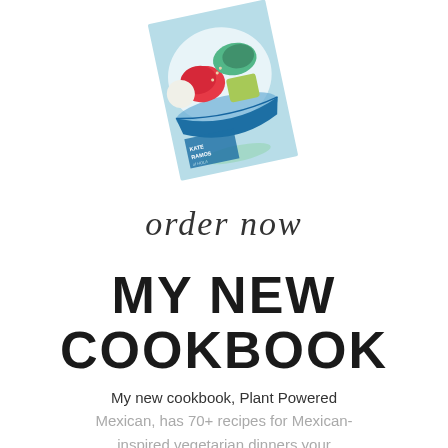[Figure (photo): A tilted cookbook cover showing a bowl filled with colorful vegetables including tomatoes, avocado, greens, and grains. Text on the cover reads 'KATE RAMOS of HOLA JALAPEÑO'.]
order now
MY NEW COOKBOOK
My new cookbook, Plant Powered Mexican, has 70+ recipes for Mexican-inspired vegetarian dinners your whole family will love.